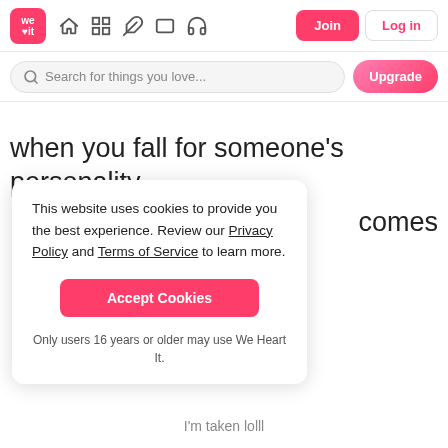[Figure (logo): We Heart It logo - pink square with 'we' and heart icon]
Navigation bar with home, grid, pen, rectangle, headphones icons; Join and Log in buttons
Search for things you love...
Upgrade
when you fall for someone's personality,
comes
This website uses cookies to provide you the best experience. Review our Privacy Policy and Terms of Service to learn more.
Accept Cookies
Only users 16 years or older may use We Heart It.
I'm taken lolll